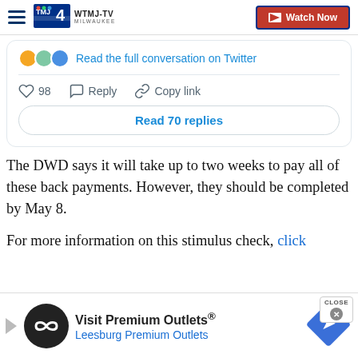WTMJ-TV Milwaukee — Watch Now
[Figure (screenshot): Twitter/X embedded tweet UI showing conversation controls: three colored circles with 'Read the full conversation on Twitter' link, heart icon with 98 likes, reply icon, copy link icon, and 'Read 70 replies' button]
The DWD says it will take up to two weeks to pay all of these back payments. However, they should be completed by May 8.
For more information on this stimulus check, click
[Figure (screenshot): Advertisement banner for Visit Premium Outlets / Leesburg Premium Outlets with dark circular logo, navigation arrows, and blue road sign diamond icon]